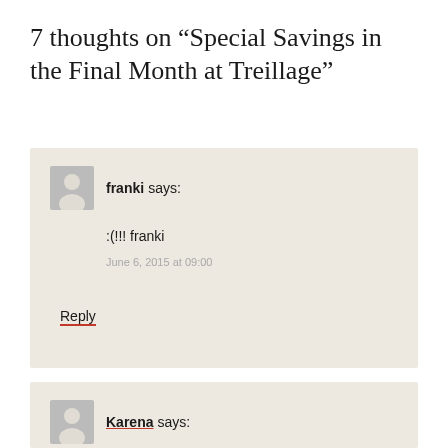7 thoughts on “Special Savings in the Final Month at Treillage”
franki says:
:(!!! franki
June 6, 2015 at 09:00
Reply
Karena says: